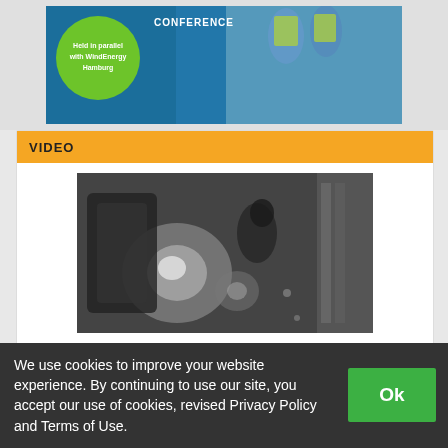[Figure (photo): Top banner showing conference advertisement with green circle badge reading 'Held in parallel with WindEnergy Hamburg' and workers in high-visibility vests in background]
VIDEO
[Figure (photo): Black and white video thumbnail showing dark industrial underwater or nighttime scene, likely oil platform related]
Oil Platform Worker Airlifted Near Southwest Pass
We use cookies to improve your website experience. By continuing to use our site, you accept our use of cookies, revised Privacy Policy and Terms of Use.